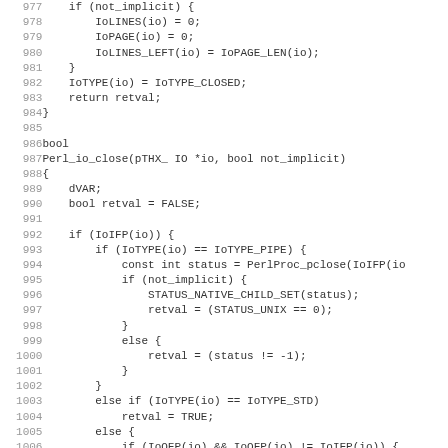Source code listing lines 977-1009, showing Perl_io_close function implementation in C